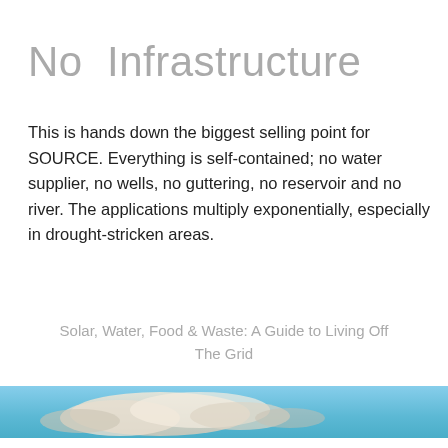No  Infrastructure
This is hands down the biggest selling point for SOURCE. Everything is self-contained; no water supplier, no wells, no guttering, no reservoir and no river. The applications multiply exponentially, especially in drought-stricken areas.
Solar, Water, Food & Waste: A Guide to Living Off The Grid
[Figure (photo): A sky scene with clouds and blue sky, used as a decorative banner image at the bottom of the page.]